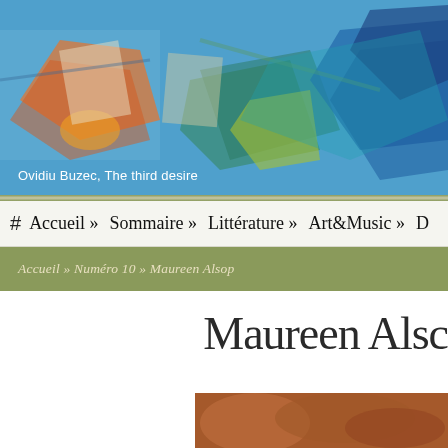[Figure (photo): Abstract colorful art painting on blue background by Ovidiu Buzec, titled 'The third desire'. Features collaged images and mixed media textures in blue, green, orange, and red tones.]
Ovidiu Buzec, The third desire
# Accueil » Sommaire » Littérature » Art&Music »
Accueil » Numéro 10 » Maureen Alsop
Maureen Alsop
[Figure (photo): Partial view of a photo showing warm reddish-brown tones, partially visible at the bottom of the page.]